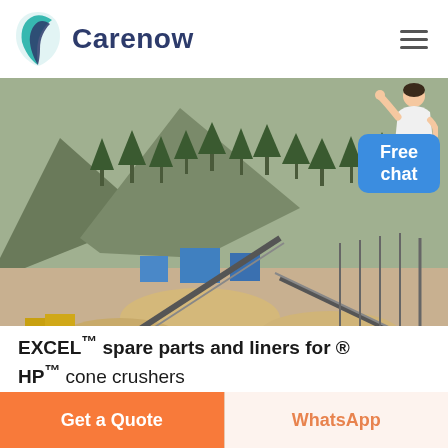[Figure (logo): Carenow logo with teal leaf/tooth icon and dark blue 'Carenow' wordmark, plus hamburger menu icon on right]
[Figure (photo): Aerial/elevated view of a mining or quarrying site with conveyor belts, construction machinery, sand/gravel piles, blue structures, and mountainous terrain in the background. Text 'THIDE' visible in red at bottom of image. A customer service representative figure and 'Free chat' blue bubble overlay in top-right corner.]
EXCEL™ spare parts and liners for ® HP™ cone crushers
[Figure (other): Free chat button overlay (blue rounded rectangle with white text 'Free chat')]
Get a Quote
WhatsApp